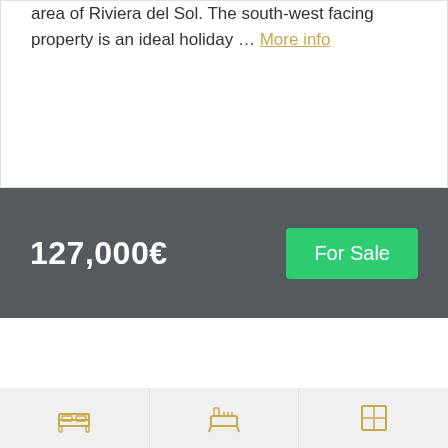… a bargain apartment in the popular residential area of Riviera del Sol. The south-west facing property is an ideal holiday … More info
127,000€
For Sale
[Figure (illustration): Three icons at the bottom representing bed, bath/toilet, and window/area]